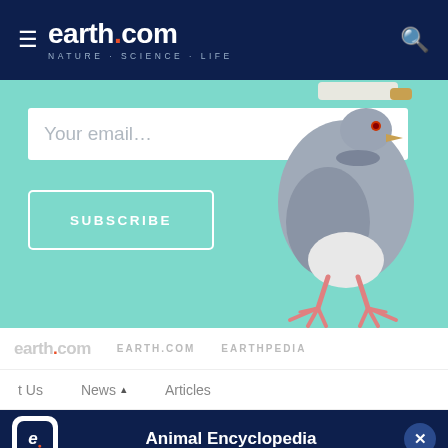earth.com NATURE · SCIENCE · LIFE
[Figure (screenshot): Subscribe banner with email input field, SUBSCRIBE button, and a pigeon standing on a teal/mint green background]
[Figure (screenshot): Navigation bar showing earth.com logo, EARTH.COM and EARTHPEDIA links]
[Figure (screenshot): Secondary navigation with About Us, News (with caret up), Articles links]
[Figure (screenshot): App promotion bar with earth.com icon and Animal Encyclopedia label with X close button]
Annelids